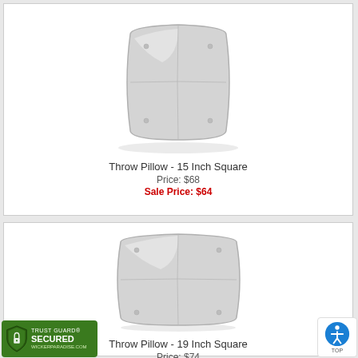[Figure (photo): A square light gray throw pillow photographed on white background, 15 inch square]
Throw Pillow - 15 Inch Square
Price: $68
Sale Price: $64
[Figure (photo): A square light gray throw pillow photographed on white background, 19 inch square]
Throw Pillow - 19 Inch Square
Price: $74
Sale Price: $71
[Figure (logo): Trust Guard Secured badge - WickerParadise.com green shield logo]
[Figure (illustration): Blue circular accessibility/wheelchair icon button with TOP label]